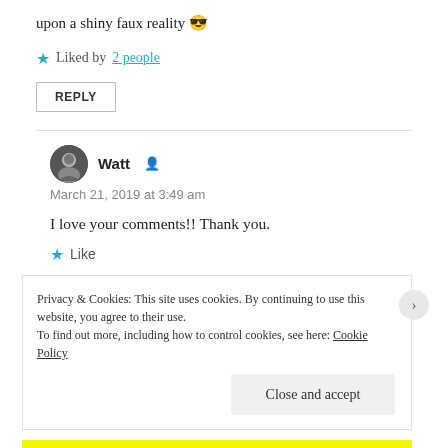upon a shiny faux reality 😎
★ Liked by 2 people
REPLY
Watt
March 21, 2019 at 3:49 am
I love your comments!! Thank you.
★ Like
Privacy & Cookies: This site uses cookies. By continuing to use this website, you agree to their use.
To find out more, including how to control cookies, see here: Cookie Policy
Close and accept